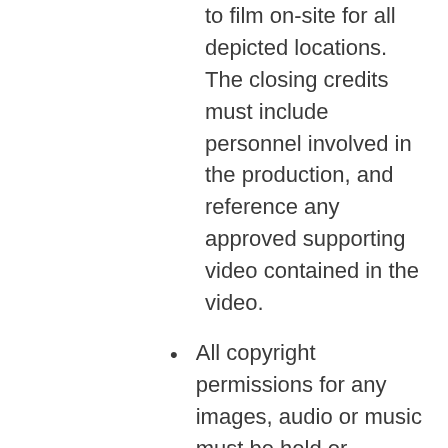video production, and written permission to film on-site for all depicted locations. The closing credits must include personnel involved in the production, and reference any approved supporting video contained in the video.
All copyright permissions for any images, audio or music must be held or granted for use to the producing party and their designee (ACTE).
Upon notification of interest in producing for the ACTE Microdoc series, the Senior Director of Programs and Communications at ACTE will coordinate with the producing entity to ensure clear communication of expectations and